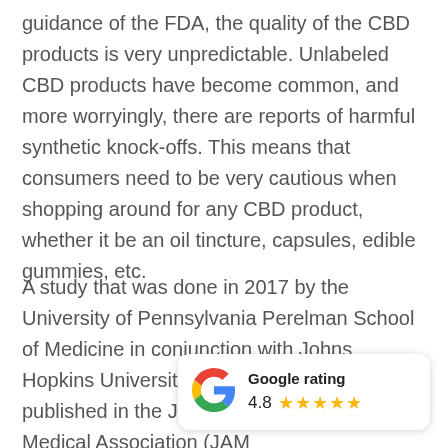guidance of the FDA, the quality of the CBD products is very unpredictable. Unlabeled CBD products have become common, and more worryingly, there are reports of harmful synthetic knock-offs. This means that consumers need to be very cautious when shopping around for any CBD product, whether it be an oil tincture, capsules, edible gummies, etc.
A study that was done in 2017 by the University of Pennsylvania Perelman School of Medicine in conjunction with Johns Hopkins University School of Medicine (and published in the Journal of the American Medical Association (JAM high CBD products often manufacturer's claim.
[Figure (infographic): Google rating badge showing the Google 'G' logo, bold text 'Google rating', rating number 4.8, and five gold stars]